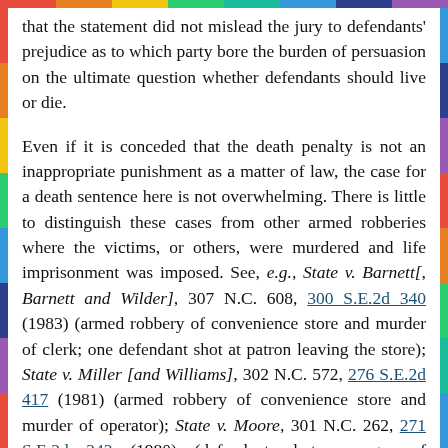that the statement did not mislead the jury to defendants' prejudice as to which party bore the burden of persuasion on the ultimate question whether defendants should live or die.
Even if it is conceded that the death penalty is not an inappropriate punishment as a matter of law, the case for a death sentence here is not overwhelming. There is little to distinguish these cases from other armed robberies where the victims, or others, were murdered and life imprisonment was imposed. See, e.g., State v. Barnett[, Barnett and Wilder], 307 N.C. 608, 300 S.E.2d 340 (1983) (armed robbery of convenience store and murder of clerk; one defendant shot at patron leaving the store); State v. Miller [and Williams], 302 N.C. 572, 276 S.E.2d 417 (1981) (armed robbery of convenience store and murder of operator); State v. Moore, 301 N.C. 262, 271 S.E.2d 242 (1980) (defendant shot manager of supermarket in armed robbery of the store with